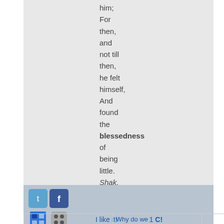him;
For
then,
and
not till
then,
he felt
himself,
And
found
the
blessedness
of
being
little.
Shak.
© Webster 1913.
[Figure (infographic): Social sharing bar with Twitter, Facebook, Delicious, Digg, StumbleUpon, Reddit icons, plus 'I like it!' and '1 C!' buttons]
Why do we